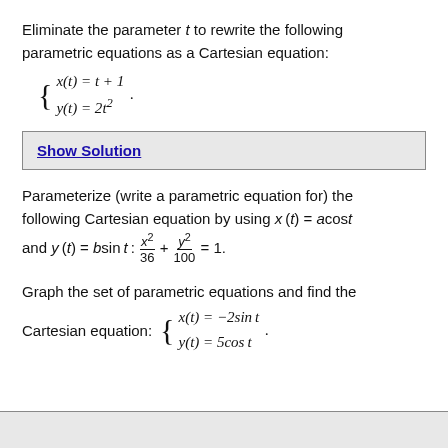Eliminate the parameter t to rewrite the following parametric equations as a Cartesian equation:
Show Solution
Parameterize (write a parametric equation for) the following Cartesian equation by using x(t) = acost and y(t) = bsin t : x²/36 + y²/100 = 1.
Graph the set of parametric equations and find the Cartesian equation: